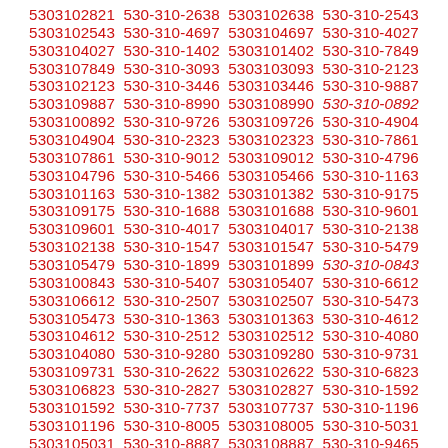5303102821 530-310-2638 5303102638 530-310-2543 5303102543 530-310-4697 5303104697 530-310-4027 5303104027 530-310-1402 5303101402 530-310-7849 5303107849 530-310-3093 5303103093 530-310-2123 5303102123 530-310-3446 5303103446 530-310-9887 5303109887 530-310-8990 5303108990 530-310-0892 5303100892 530-310-9726 5303109726 530-310-4904 5303104904 530-310-2323 5303102323 530-310-7861 5303107861 530-310-9012 5303109012 530-310-4796 5303104796 530-310-5466 5303105466 530-310-1163 5303101163 530-310-1382 5303101382 530-310-9175 5303109175 530-310-1688 5303101688 530-310-9601 5303109601 530-310-4017 5303104017 530-310-2138 5303102138 530-310-1547 5303101547 530-310-5479 5303105479 530-310-1899 5303101899 530-310-0843 5303100843 530-310-5407 5303105407 530-310-6612 5303106612 530-310-2507 5303102507 530-310-5473 5303105473 530-310-1363 5303101363 530-310-4612 5303104612 530-310-2512 5303102512 530-310-4080 5303104080 530-310-9280 5303109280 530-310-9731 5303109731 530-310-2622 5303102622 530-310-6823 5303106823 530-310-2827 5303102827 530-310-1592 5303101592 530-310-7737 5303107737 530-310-1196 5303101196 530-310-8005 5303108005 530-310-5031 5303105031 530-310-8887 5303108887 530-310-9465